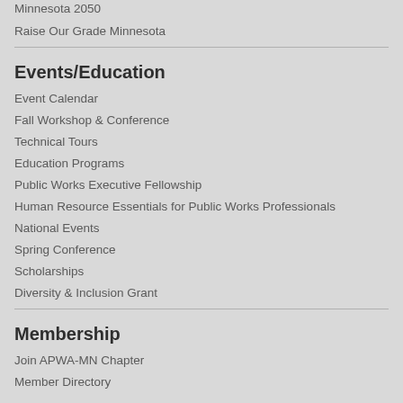Minnesota 2050
Raise Our Grade Minnesota
Events/Education
Event Calendar
Fall Workshop & Conference
Technical Tours
Education Programs
Public Works Executive Fellowship
Human Resource Essentials for Public Works Professionals
National Events
Spring Conference
Scholarships
Diversity & Inclusion Grant
Membership
Join APWA-MN Chapter
Member Directory